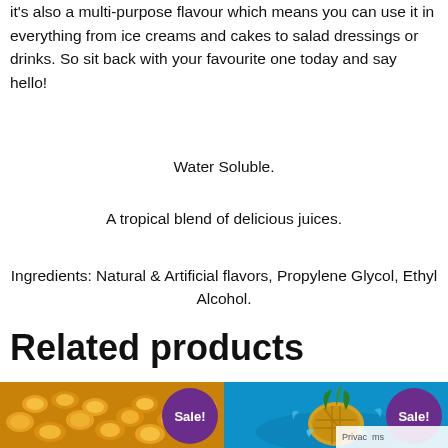It's also a multi-purpose flavour which means you can use it in everything from ice creams and cakes to salad dressings or drinks. So sit back with your favourite one today and say hello!
Water Soluble.
A tropical blend of delicious juices.
Ingredients: Natural & Artificial flavors, Propylene Glycol, Ethyl Alcohol.
Related products
[Figure (photo): Close-up photo of golden corn puff snacks with a purple Sale! badge]
[Figure (photo): Photo of a pineapple splashing in blue water with a purple Sale! badge]